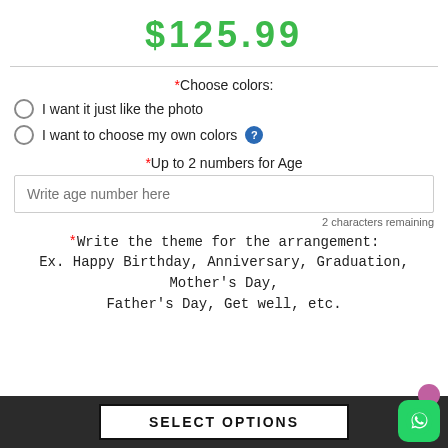$125.99
*Choose colors:
I want it just like the photo
I want to choose my own colors
*Up to 2 numbers for Age
Write age number here
2 characters remaining
*Write the theme for the arrangement:
Ex. Happy Birthday, Anniversary, Graduation, Mother's Day, Father's Day, Get well, etc.
SELECT OPTIONS